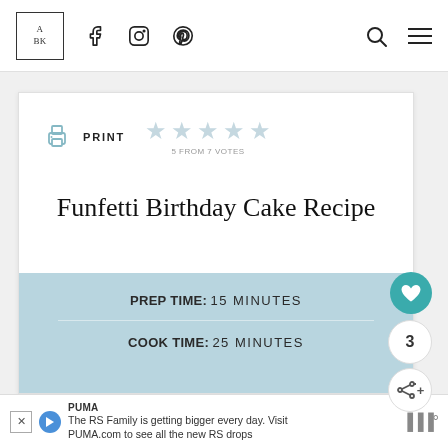Navigation bar with logo (A BK), Facebook, Instagram, Pinterest icons on left; Search and Menu icons on right
PRINT  ★★★★★  5 FROM 7 VOTES
Funfetti Birthday Cake Recipe
PREP TIME: 15 MINUTES
COOK TIME: 25 MINUTES
PUMA
The RS Family is getting bigger every day. Visit PUMA.com to see all the new RS drops